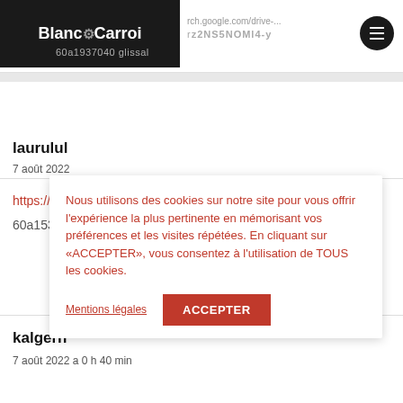Blanc & Carroi
rch.google.com/drive-... r22NS5NOMl4-y
60a1937040 glissal
laurulul
7 août 2022
https://c...
60a1537...
Nous utilisons des cookies sur notre site pour vous offrir l'expérience la plus pertinente en mémorisant vos préférences et les visites répétées. En cliquant sur «ACCEPTER», vous consentez à l'utilisation de TOUS les cookies.
Mentions légales
ACCEPTER
kalgerh
7 août 2022 a 0 h 40 min